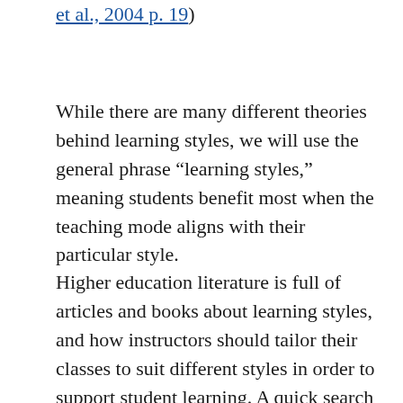et al., 2004 p. 19)
While there are many different theories behind learning styles, we will use the general phrase “learning styles,” meaning students benefit most when the teaching mode aligns with their particular style.
Higher education literature is full of articles and books about learning styles, and how instructors should tailor their classes to suit different styles in order to support student learning. A quick search in the Library, Informations Science, and Technology Abstracts database showed over 100 articles about learning styles published in just the last